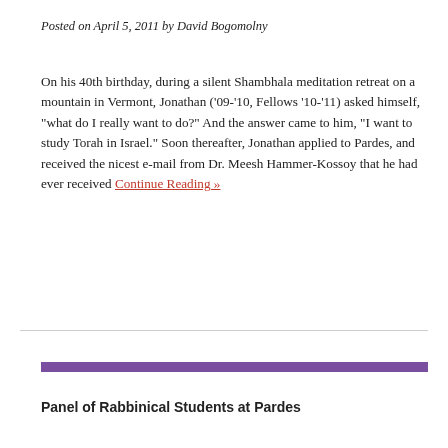Posted on April 5, 2011 by David Bogomolny
On his 40th birthday, during a silent Shambhala meditation retreat on a mountain in Vermont, Jonathan ('09-'10, Fellows '10-'11) asked himself, "what do I really want to do?" And the answer came to him, "I want to study Torah in Israel." Soon thereafter, Jonathan applied to Pardes, and received the nicest e-mail from Dr. Meesh Hammer-Kossoy that he had ever received Continue Reading »
Panel of Rabbinical Students at Pardes